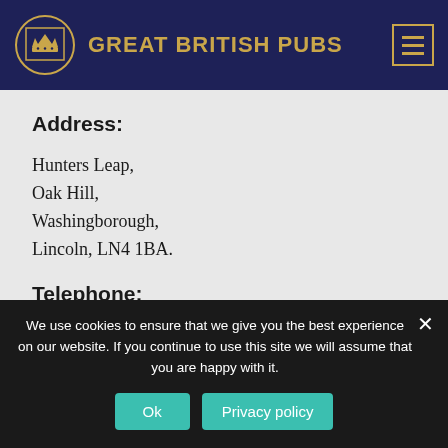GREAT BRITISH PUBS
Address:
Hunters Leap,
Oak Hill,
Washingborough,
Lincoln, LN4 1BA.
Telephone:
We use cookies to ensure that we give you the best experience on our website. If you continue to use this site we will assume that you are happy with it.